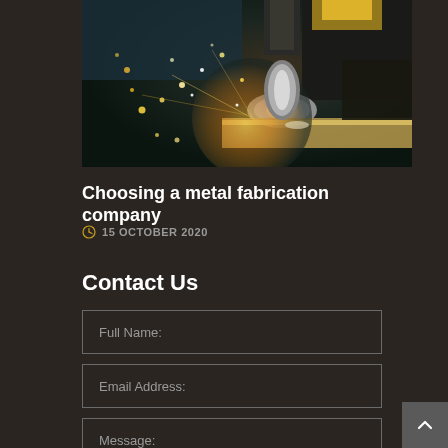[Figure (photo): Close-up photo of metal fabrication/CNC machining with sparks flying from grinding wheel on metal workpiece, industrial manufacturing setting with bokeh lighting]
Choosing a metal fabrication company
15 OCTOBER 2020
Contact Us
Full Name:
Email Address:
Message: